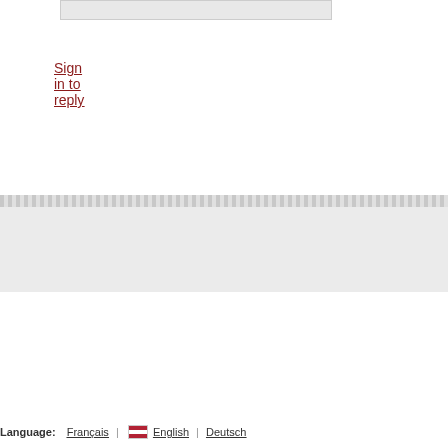Sign in to reply
KONGREGATE | Be a Facebook Fan | Follow Us on Twitter | About Us | Contact Us | Help/FAQ | Code of Conduct | Terms of Service | Privacy Policy | Games for Your Site | Link to Kongregate | Job Opportunities | Upload your Game | Language: Français | English | Deutsch